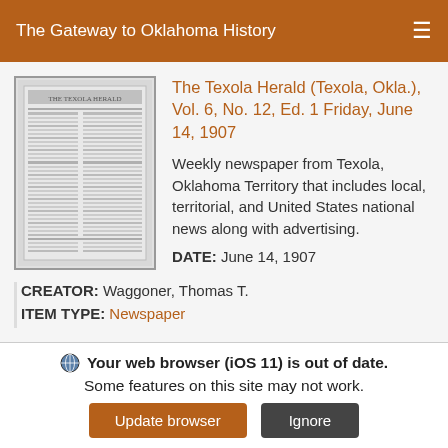The Gateway to Oklahoma History
[Figure (photo): Thumbnail of The Texola Herald newspaper front page, black and white, showing columns of text]
The Texola Herald (Texola, Okla.), Vol. 6, No. 12, Ed. 1 Friday, June 14, 1907
Weekly newspaper from Texola, Oklahoma Territory that includes local, territorial, and United States national news along with advertising.
DATE: June 14, 1907
CREATOR: Waggoner, Thomas T.
ITEM TYPE: Newspaper
Your web browser (iOS 11) is out of date. Some features on this site may not work.